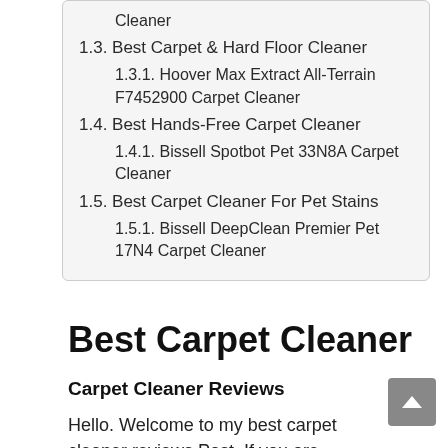Cleaner
1.3. Best Carpet & Hard Floor Cleaner
1.3.1. Hoover Max Extract All-Terrain F7452900 Carpet Cleaner
1.4. Best Hands-Free Carpet Cleaner
1.4.1. Bissell Spotbot Pet 33N8A Carpet Cleaner
1.5. Best Carpet Cleaner For Pet Stains
1.5.1. Bissell DeepClean Premier Pet 17N4 Carpet Cleaner
Best Carpet Cleaner
Carpet Cleaner Reviews
Hello. Welcome to my best carpet cleaner reviews Post. If you are looking for the best carpet cleaning machine for home use, you are in luck.